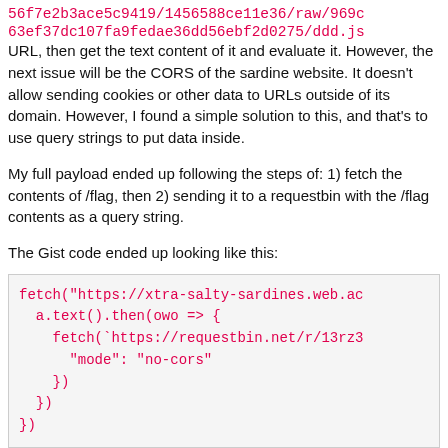56f7e2b3ace5c9419/1456588ce11e36/raw/969c63ef37dc107fa9fedae36dd56ebf2d0275/ddd.js URL, then get the text content of it and evaluate it. However, the next issue will be the CORS of the sardine website. It doesn't allow sending cookies or other data to URLs outside of its domain. However, I found a simple solution to this, and that's to use query strings to put data inside.
My full payload ended up following the steps of: 1) fetch the contents of /flag, then 2) sending it to a requestbin with the /flag contents as a query string.
The Gist code ended up looking like this:
[Figure (screenshot): Code block showing JavaScript fetch payload with pink/red monospace text on light gray background]